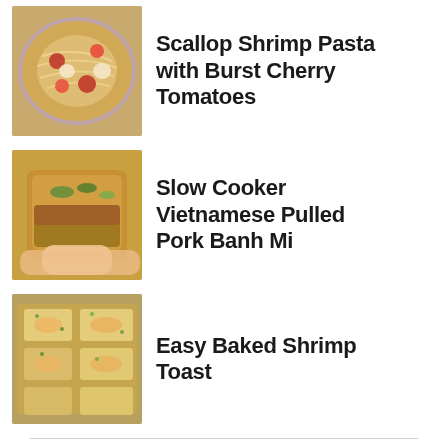[Figure (photo): Photo of scallop shrimp pasta with cherry tomatoes in a bowl]
Scallop Shrimp Pasta with Burst Cherry Tomatoes
[Figure (photo): Photo of Vietnamese pulled pork banh mi sandwich being held]
Slow Cooker Vietnamese Pulled Pork Banh Mi
[Figure (photo): Photo of easy baked shrimp toast pieces on a baking sheet]
Easy Baked Shrimp Toast
As seen on
[Figure (logo): Logos: BuzzFeed, TASTY, wikiHow, Reader's Digest, Yummly, msn, Flipboard, Greatist, Parade, foodgawker]